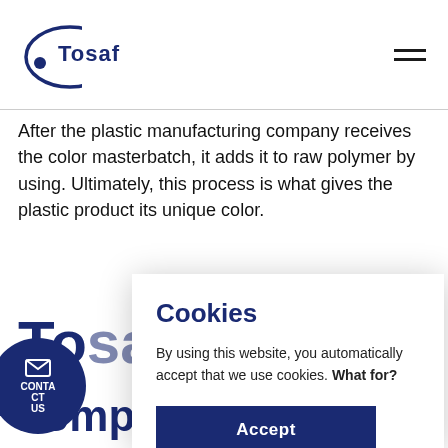[Figure (logo): Tosaf company logo — blue elliptical arc with dot and 'Tosaf' text]
After the plastic manufacturing company receives the color masterbatch, it adds it to raw polymer by using. Ultimately, this process is what gives the plastic product its unique color.
Tosaf is a leading color m... m... co... pr...
[Figure (screenshot): Cookie consent modal dialog with title 'Cookies', body text 'By using this website, you automatically accept that we use cookies. What for?' and an Accept button]
comprehensive experience: